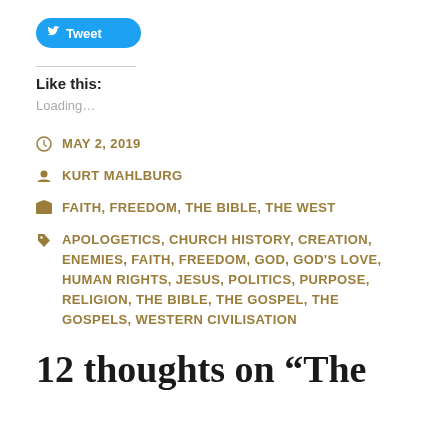[Figure (other): Twitter Tweet button (blue rounded button with bird icon)]
Like this:
Loading…
MAY 2, 2019
KURT MAHLBURG
FAITH, FREEDOM, THE BIBLE, THE WEST
APOLOGETICS, CHURCH HISTORY, CREATION, ENEMIES, FAITH, FREEDOM, GOD, GOD'S LOVE, HUMAN RIGHTS, JESUS, POLITICS, PURPOSE, RELIGION, THE BIBLE, THE GOSPEL, THE GOSPELS, WESTERN CIVILISATION
12 thoughts on “The